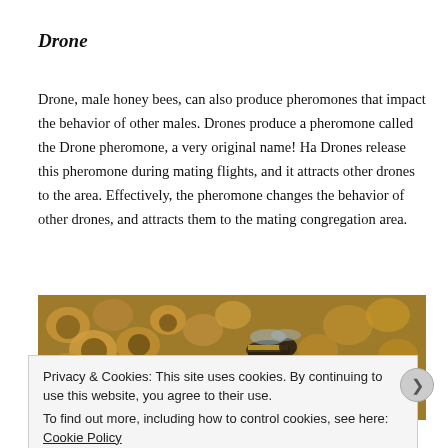Drone
Drone, male honey bees, can also produce pheromones that impact the behavior of other males. Drones produce a pheromone called the Drone pheromone, a very original name! Ha Drones release this pheromone during mating flights, and it attracts other drones to the area. Effectively, the pheromone changes the behavior of other drones, and attracts them to the mating congregation area.
[Figure (photo): Close-up photo of honey bees on a honeycomb, showing worker bees and comb cells]
Privacy & Cookies: This site uses cookies. By continuing to use this website, you agree to their use.
To find out more, including how to control cookies, see here: Cookie Policy
Close and accept